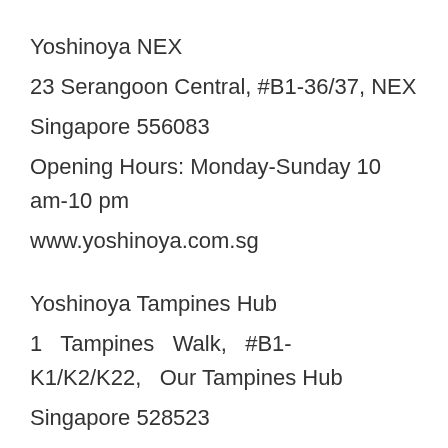Yoshinoya NEX
23 Serangoon Central, #B1-36/37, NEX
Singapore 556083
Opening Hours: Monday-Sunday 10 am-10 pm
www.yoshinoya.com.sg
Yoshinoya Tampines Hub
1 Tampines Walk, #B1-K1/K2/K22, Our Tampines Hub
Singapore 528523
Opening Hours: Monday-Sunday 10 am-10 pm
www.yoshinoya.com.sg